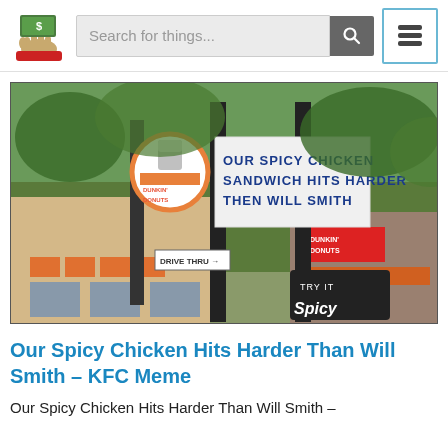Search for things...
[Figure (photo): Photo of a fast food strip with a KFC sign reading 'OUR SPICY CHICKEN SANDWICH HITS HARDER THEN WILL SMITH', Dunkin' Donuts signage on the left, Burger King and another Dunkin' Donuts in the background, and a 'TRY IT Spicy' promotional sign in the foreground.]
Our Spicy Chicken Hits Harder Than Will Smith – KFC Meme
Our Spicy Chicken Hits Harder Than Will Smith –